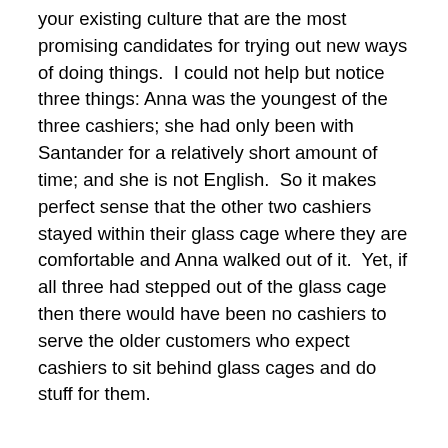your existing culture that are the most promising candidates for trying out new ways of doing things.  I could not help but notice three things: Anna was the youngest of the three cashiers; she had only been with Santander for a relatively short amount of time; and she is not English.  So it makes perfect sense that the other two cashiers stayed within their glass cage where they are comfortable and Anna walked out of it.  Yet, if all three had stepped out of the glass cage then there would have been no cashiers to serve the older customers who expect cashiers to sit behind glass cages and do stuff for them.
Improving the customer experience and delighting customers need not cost any more.  What extra costs did Santander occur by allowing Anna to leave her glass cage and be a customer servant?  None at all.  The